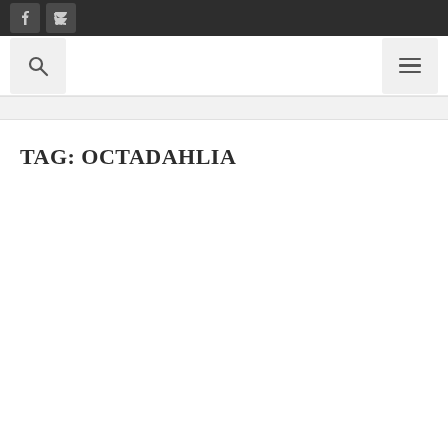Facebook icon, RSS icon
[Figure (screenshot): Navigation bar with search icon on the left and hamburger menu icon on the right]
TAG: OCTADAHLIA